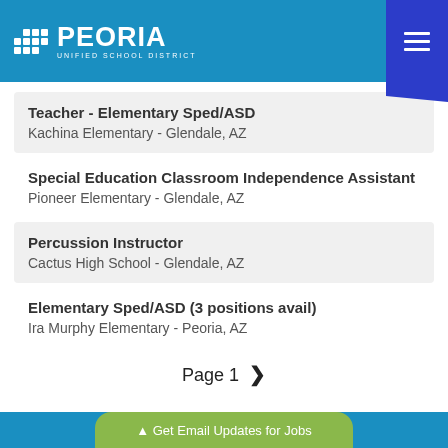PEORIA UNIFIED SCHOOL DISTRICT
Teacher - Elementary Sped/ASD
Kachina Elementary - Glendale, AZ
Special Education Classroom Independence Assistant
Pioneer Elementary - Glendale, AZ
Percussion Instructor
Cactus High School - Glendale, AZ
Elementary Sped/ASD (3 positions avail)
Ira Murphy Elementary - Peoria, AZ
Page 1 ›
▲ Get Email Updates for Jobs